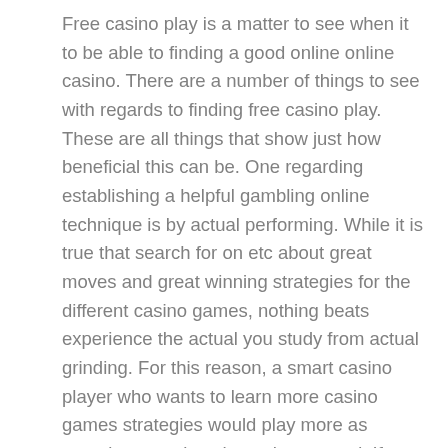Free casino play is a matter to see when it to be able to finding a good online online casino. There are a number of things to see with regards to finding free casino play. These are all things that show just how beneficial this can be. One regarding establishing a helpful gambling online technique is by actual performing. While it is true that search for on etc about great moves and great winning strategies for the different casino games, nothing beats experience the actual you study from actual grinding. For this reason, a smart casino player who wants to learn more casino games strategies would play more as experience makes them sharper and. If you want to hone your gambling skills in this particular way, you could possibly always maximize many online casino games which zero cost play. Playing https://bluetvcanais.com.br/ allow for you take hold of new strategies without spending a involving the threat. And there's one other advantage to including a craps game: you'll need to have a croupier to man the table that understands the game, absolutely no teenage guest is going to want to stuck with that